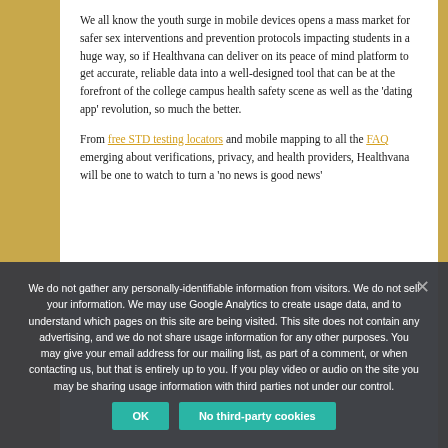We all know the youth surge in mobile devices opens a mass market for safer sex interventions and prevention protocols impacting students in a huge way, so if Healthvana can deliver on its peace of mind platform to get accurate, reliable data into a well-designed tool that can be at the forefront of the college campus health safety scene as well as the 'dating app' revolution, so much the better.
From free STD testing locators and mobile mapping to all the FAQ emerging about verifications, privacy, and health providers, Healthvana will be one to watch to turn a 'no news is good news'
We do not gather any personally-identifiable information from visitors. We do not sell your information. We may use Google Analytics to create usage data, and to understand which pages on this site are being visited. This site does not contain any advertising, and we do not share usage information for any other purposes. You may give your email address for our mailing list, as part of a comment, or when contacting us, but that is entirely up to you. If you play video or audio on the site you may be sharing usage information with third parties not under our control.